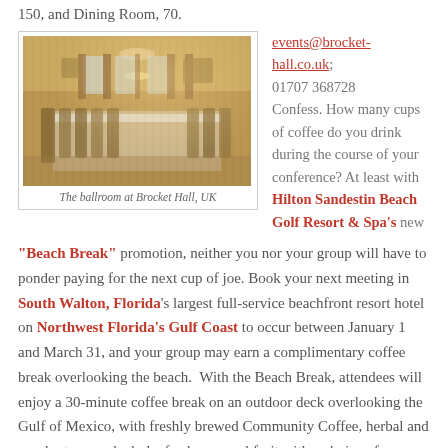150, and Dining Room, 70.
[Figure (photo): Interior photo of the ballroom at Brocket Hall, UK — a long dining table set formally under a chandelier in an ornate gold-decorated room.]
The ballroom at Brocket Hall, UK
events@brocket-hall.co.uk; 01707 368728 Confess. How many cups of coffee do you drink during the course of your conference? At least with Hilton Sandestin Beach Golf Resort & Spa's new
"Beach Break" promotion, neither you nor your group will have to ponder paying for the next cup of joe. Book your next meeting in South Walton, Florida's largest full-service beachfront resort hotel on Northwest Florida's Gulf Coast to occur between January 1 and March 31, and your group may earn a complimentary coffee break overlooking the beach.  With the Beach Break, attendees will enjoy a 30-minute coffee break on an outdoor deck overlooking the Gulf of Mexico, with freshly brewed Community Coffee, herbal and regular teas, and whole, fresh seasonal fruit with a choice of assorted granola and power bars or freshly baked cookies and brownies. Hilton Sandestin Beach can accommodate